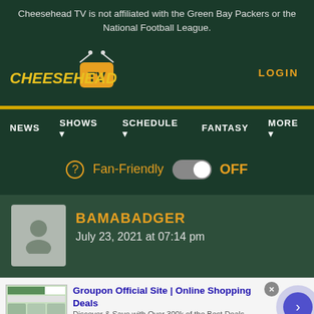Cheesehead TV is not affiliated with the Green Bay Packers or the National Football League.
[Figure (logo): Cheesehead TV logo with yellow stylized text and orange TV box icon]
LOGIN
NEWS   SHOWS ▾   SCHEDULE ▾   FANTASY   MORE ▾
? Fan-Friendly [toggle OFF] OFF
BAMABADGER
July 23, 2021 at 07:14 pm
Groupon Official Site | Online Shopping Deals
Discover & Save with Over 300k of the Best Deals
www.groupon.com